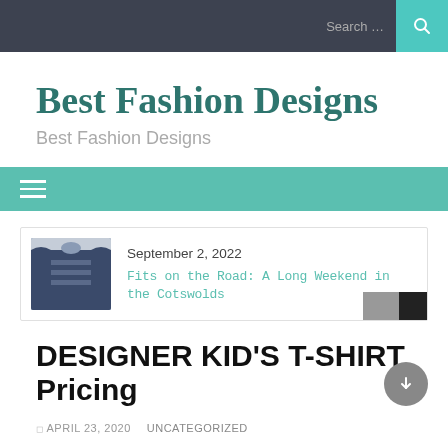Search ...
Best Fashion Designs
Best Fashion Designs
[Figure (screenshot): Green navigation bar with hamburger menu icon (three horizontal white lines)]
[Figure (photo): Card with sweater thumbnail image, date September 2, 2022, and link 'Fits on the Road: A Long Weekend in the Cotswolds']
DESIGNER KID'S T-SHIRT Pricing
APRIL 23, 2020   UNCATEGORIZED